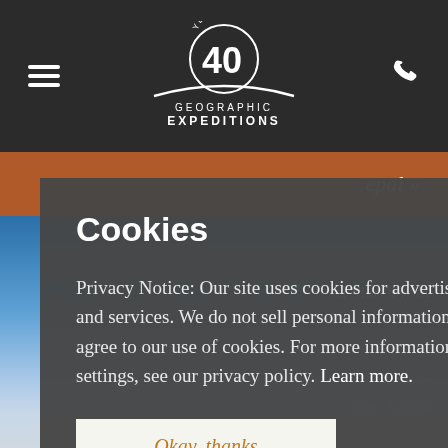[Figure (logo): Geographic Expeditions 40 Years logo — circular '40 YEARS' emblem above an arch/horizon line with 'GEOGRAPHIC EXPEDITIONS' text below]
Cookies
Privacy Notice: Our site uses cookies for advertising, analytics, and to improve our site and services. We do not sell personal information. By continuing to use our site, you agree to our use of cookies. For more information, including how to change your settings, see our privacy policy. Learn more.
Okay, thanks